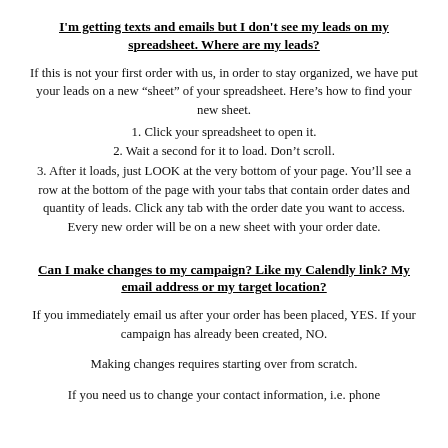I'm getting texts and emails but I don't see my leads on my spreadsheet. Where are my leads?
If this is not your first order with us, in order to stay organized, we have put your leads on a new “sheet” of your spreadsheet. Here’s how to find your new sheet.
1. Click your spreadsheet to open it.
2. Wait a second for it to load. Don’t scroll.
3. After it loads, just LOOK at the very bottom of your page. You’ll see a row at the bottom of the page with your tabs that contain order dates and quantity of leads. Click any tab with the order date you want to access. Every new order will be on a new sheet with your order date.
Can I make changes to my campaign? Like my Calendly link? My email address or my target location?
If you immediately email us after your order has been placed, YES. If your campaign has already been created, NO.
Making changes requires starting over from scratch.
If you need us to change your contact information, i.e. phone